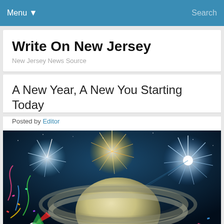Menu  Search
Write On New Jersey
New Jersey News Source
A New Year, A New You Starting Today
Posted by Editor
[Figure (illustration): New Year celebration illustration showing Saturn planet with rings in foreground, colorful fireworks bursting in dark blue night sky behind it, with party streamers, confetti, and a party horn in the lower left corner.]